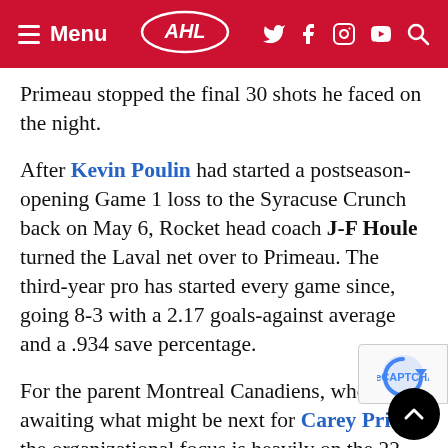Menu | AHL | social icons
Primeau stopped the final 30 shots he faced on the night.
After Kevin Poulin had started a postseason-opening Game 1 loss to the Syracuse Crunch back on May 6, Rocket head coach J-F Houle turned the Laval net over to Primeau. The third-year pro has started every game since, going 8-3 with a 2.17 goals-against average and a .934 save percentage.
For the parent Montreal Canadiens, who are awaiting what might be next for Carey Price, the organizational focus is heavily on the 22-year-old Primeau. Montreal selected the 6-foot-3, 200-pound son of long-time NHL forward Keith Primeau as a seventh-round draft pick in 2017.
Following two standout seasons at Northeastern...